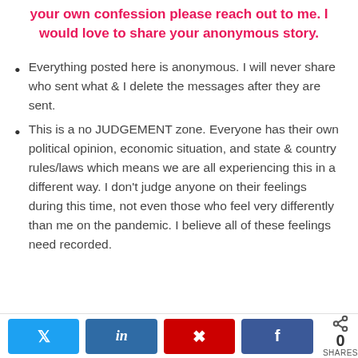your own confession please reach out to me. I would love to share your anonymous story.
Everything posted here is anonymous. I will never share who sent what & I delete the messages after they are sent.
This is a no JUDGEMENT zone. Everyone has their own political opinion, economic situation, and state & country rules/laws which means we are all experiencing this in a different way. I don't judge anyone on their feelings during this time, not even those who feel very differently than me on the pandemic. I believe all of these feelings need recorded.